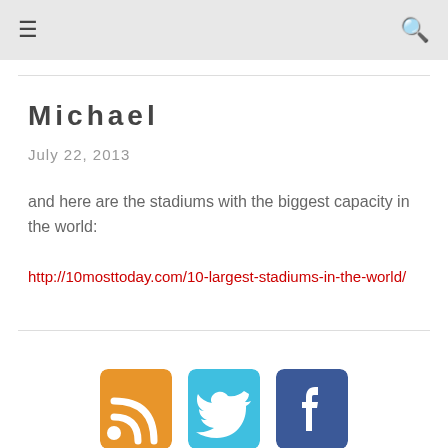≡  🔍
Michael
July 22, 2013
and here are the stadiums with the biggest capacity in the world:
http://10mosttoday.com/10-largest-stadiums-in-the-world/
[Figure (illustration): Social sharing icons: RSS (orange), Twitter (blue), Facebook (dark blue), partially visible at the bottom of the page]